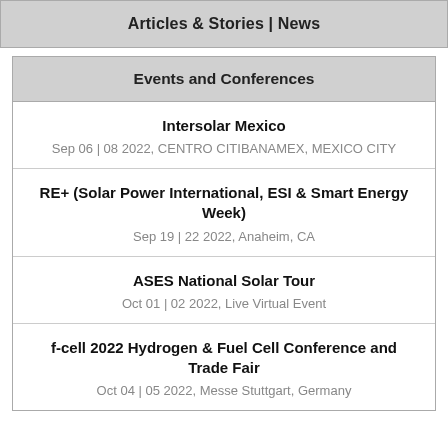Articles & Stories | News
Events and Conferences
Intersolar Mexico
Sep 06 | 08 2022, CENTRO CITIBANAMEX, MEXICO CITY
RE+ (Solar Power International, ESI & Smart Energy Week)
Sep 19 | 22 2022, Anaheim, CA
ASES National Solar Tour
Oct 01 | 02 2022, Live Virtual Event
f-cell 2022 Hydrogen & Fuel Cell Conference and Trade Fair
Oct 04 | 05 2022, Messe Stuttgart, Germany